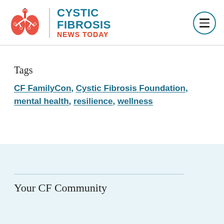[Figure (logo): Cystic Fibrosis News Today logo with lung illustration and hamburger menu icon]
Tags
CF FamilyCon, Cystic Fibrosis Foundation, mental health, resilience, wellness
Your CF Community